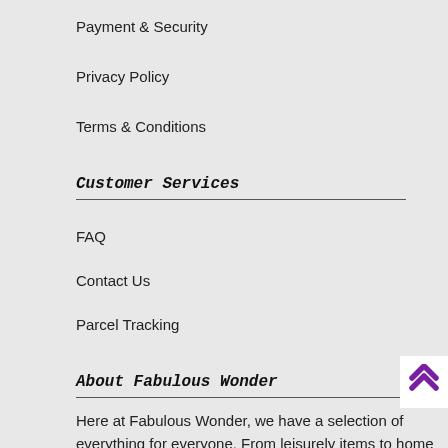Payment & Security
Privacy Policy
Terms & Conditions
Customer Services
FAQ
Contact Us
Parcel Tracking
About Fabulous Wonder
Here at Fabulous Wonder, we have a selection of everything for everyone. From leisurely items to home and lifestyle essentials, we have